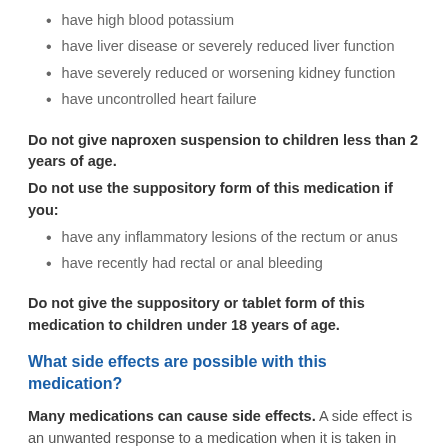have high blood potassium
have liver disease or severely reduced liver function
have severely reduced or worsening kidney function
have uncontrolled heart failure
Do not give naproxen suspension to children less than 2 years of age.
Do not use the suppository form of this medication if you:
have any inflammatory lesions of the rectum or anus
have recently had rectal or anal bleeding
Do not give the suppository or tablet form of this medication to children under 18 years of age.
What side effects are possible with this medication?
Many medications can cause side effects. A side effect is an unwanted response to a medication when it is taken in normal doses. Side effects can be mild or severe, temporary or